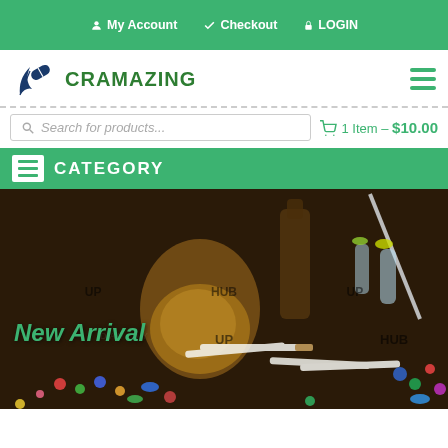My Account   Checkout   LOGIN
CRAMAZING
Search for products...
1 Item - $10.00
CATEGORY
[Figure (photo): Hero banner image showing assorted drugs including syringes, whiskey glass, cigarettes, and colorful pills scattered on a dark wooden surface. Green text overlay reads 'New Arrival'.]